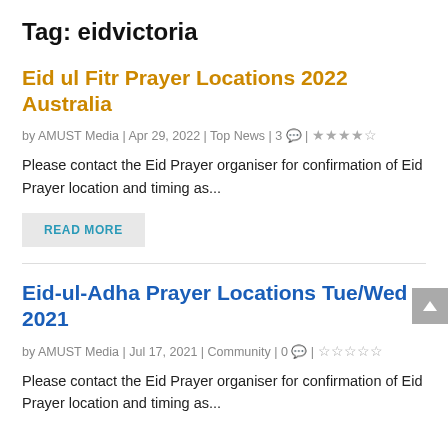Tag: eidvictoria
Eid ul Fitr Prayer Locations 2022 Australia
by AMUST Media | Apr 29, 2022 | Top News | 3 💬 | ★★★★☆
Please contact the Eid Prayer organiser for confirmation of Eid Prayer location and timing as...
READ MORE
Eid-ul-Adha Prayer Locations Tue/Wed 2021
by AMUST Media | Jul 17, 2021 | Community | 0 💬 | ☆☆☆☆☆
Please contact the Eid Prayer organiser for confirmation of Eid Prayer location and timing as...